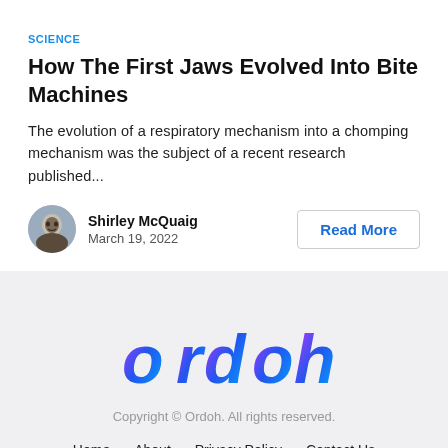SCIENCE
How The First Jaws Evolved Into Bite Machines
The evolution of a respiratory mechanism into a chomping mechanism was the subject of a recent research published...
Shirley McQuaig
March 19, 2022
[Figure (logo): Ordoh logo in blue and magenta gradient italic bold text]
Copyright © Ordoh. All rights reserved.
Home   About   Privacy Policy   Contact Us